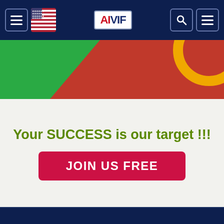AIVIF navigation header with hamburger menu, US flag, logo, search and menu icons
[Figure (illustration): Colorful banner with green left section, red right section, and orange circular graphic element in upper right]
Your SUCCESS is our target !!!
JOIN US FREE
Information
FEES
Privacy notice
About us
Contact us